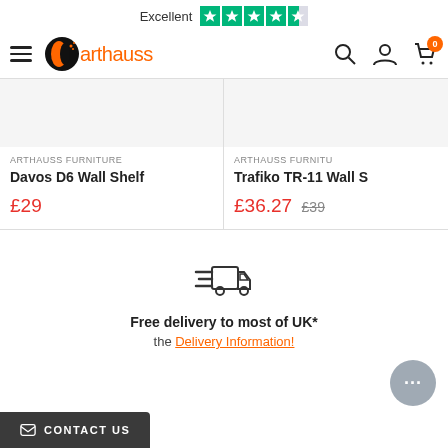Excellent ★★★★☆ | arthauss
[Figure (screenshot): Product card for Davos D6 Wall Shelf priced at £29 by Arthauss Furniture]
[Figure (screenshot): Product card for Trafiko TR-11 Wall Shelf priced at £36.27 (was £39) by Arthauss Furniture]
[Figure (infographic): Delivery truck icon with speed lines]
Free delivery to most of UK*
the Delivery Information!
CONTACT US